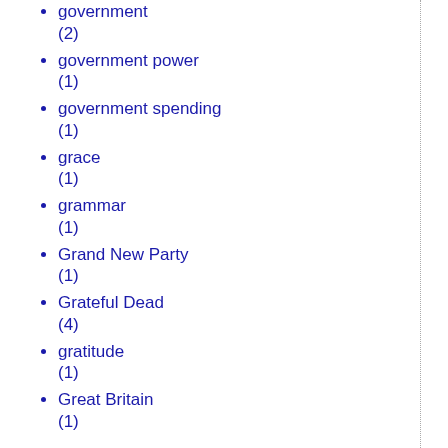(1)
government (2)
government power (1)
government spending (1)
grace (1)
grammar (1)
Grand New Party (1)
Grateful Dead (4)
gratitude (1)
Great Britain (1)